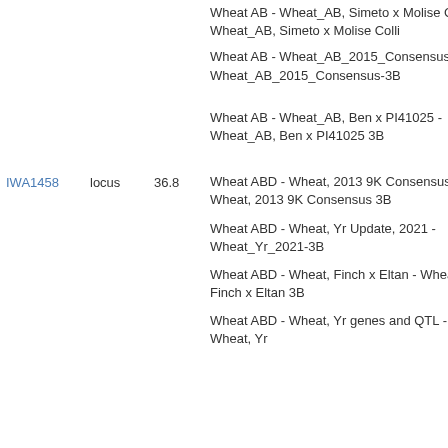| Marker | Type | Position | Map |
| --- | --- | --- | --- |
|  |  |  | Wheat AB - Wheat_AB, Simeto x Molise Colli - Wheat_AB, Simeto x Molise Colli |
|  |  |  | Wheat AB - Wheat_AB_2015_Consensus - Wheat_AB_2015_Consensus-3B |
|  |  |  | Wheat AB - Wheat_AB, Ben x PI41025 - Wheat_AB, Ben x PI41025 3B |
| IWA1458 | locus | 36.8 | Wheat ABD - Wheat, 2013 9K Consensus - Wheat, 2013 9K Consensus 3B |
|  |  |  | Wheat ABD - Wheat, Yr Update, 2021 - Wheat_Yr_2021-3B |
|  |  |  | Wheat ABD - Wheat, Finch x Eltan - Wheat, Finch x Eltan 3B |
|  |  |  | Wheat ABD - Wheat, Yr genes and QTL - Wheat, Yr |